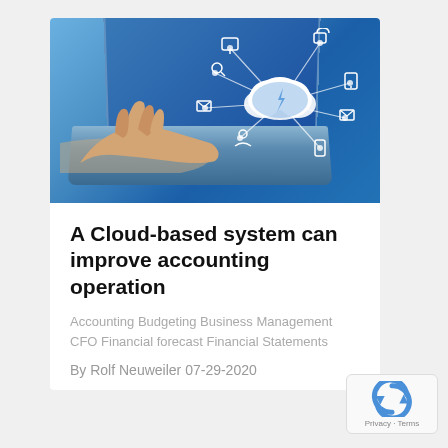[Figure (photo): A person's hand touching a laptop keyboard, with a cloud computing network diagram floating above the laptop screen against a blue background with tech icons.]
A Cloud-based system can improve accounting operation
Accounting Budgeting Business Management CFO Financial forecast Financial Statements
By Rolf Neuweiler 07-29-2020